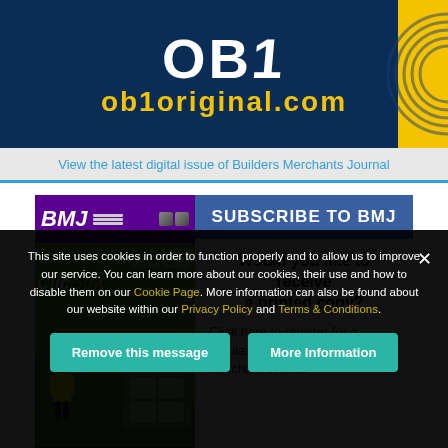[Figure (logo): OB1 brand banner with dark navy background, large white OB1 text, yellow ob1original.com URL, and yellow arc decoration on right]
View the latest digital issue of Builders Merchants Journal
[Figure (infographic): Subscribe to BMJ advertisement panel showing magazine cover with ClicBox feature and subscription call-to-action saying 'Would you like to receive a printed copy? Click here to register for a regular copy of Builders Merchant Journal']
This site uses cookies in order to function properly and to allow us to improve our service. You can learn more about our cookies, their use and how to disable them on our Cookie Page. More information can also be found about our website within our Privacy Policy and Terms & Conditions.
Remove this message
More Information